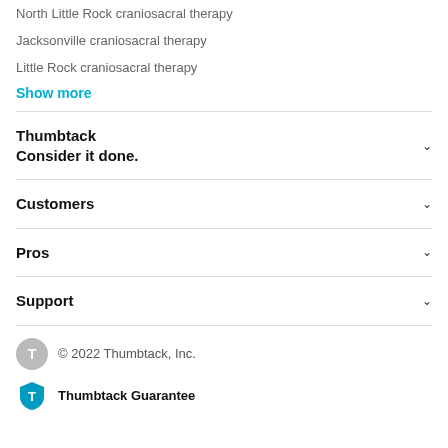North Little Rock craniosacral therapy
Jacksonville craniosacral therapy
Little Rock craniosacral therapy
Show more
Thumbtack
Consider it done.
Customers
Pros
Support
© 2022 Thumbtack, Inc.
Thumbtack Guarantee